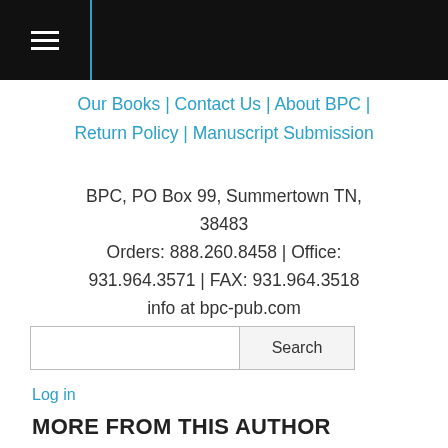≡
Our Books | Contact Us | About BPC | Return Policy | Manuscript Submission
BPC, PO Box 99, Summertown TN, 38483
Orders: 888.260.8458 | Office: 931.964.3571 | FAX: 931.964.3518
info at bpc-pub.com
Search
Log in
MORE FROM THIS AUTHOR
[Figure (photo): Author photo — person with dark hair against a blue-grey background]